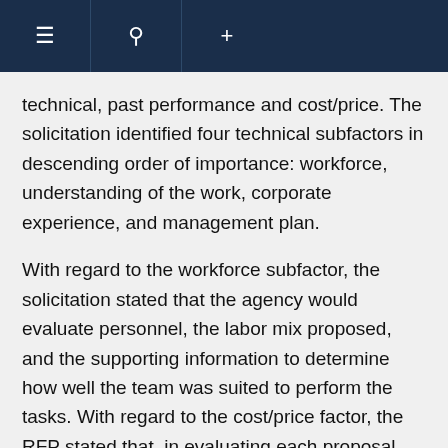≡ 🔍 +
technical, past performance and cost/price. The solicitation identified four technical subfactors in descending order of importance: workforce, understanding of the work, corporate experience, and management plan.
With regard to the workforce subfactor, the solicitation stated that the agency would evaluate personnel, the labor mix proposed, and the supporting information to determine how well the team was suited to perform the tasks. With regard to the cost/price factor, the RFP stated that, in evaluating each proposal, the agency would consider the realism of offerors' estimated costs to determine if the overall costs proposed were realistic for the